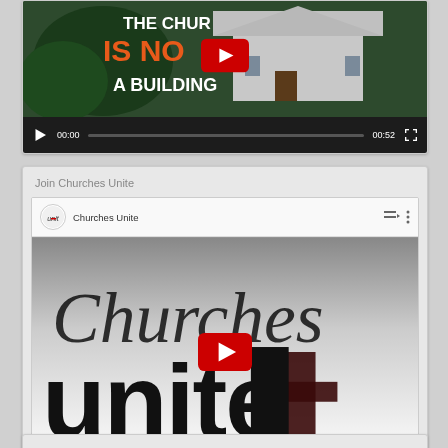[Figure (screenshot): Top portion of a YouTube video embed showing a church building with text 'THE CHURCH IS NOT A BUILDING', with a YouTube play button overlay and video control bar showing 00:00 / 00:52]
Join Churches Unite
[Figure (screenshot): YouTube video embed for 'Churches Unite' channel showing the Churches Unite logo text with a dark cross graphic and YouTube play button overlay. Video control bar shows 00:00 / 01:04]
[Figure (screenshot): Partial bottom edge of a third card section, barely visible at the bottom of the page]